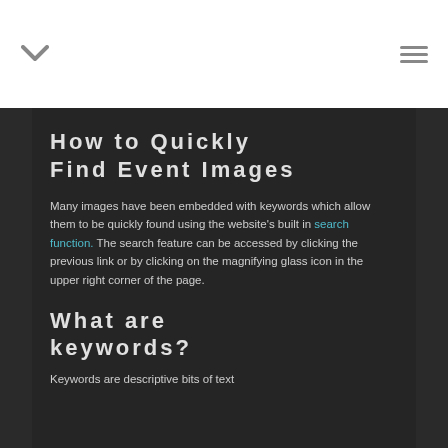▾  ≡
How to Quickly Find Event Images
Many images have been embedded with keywords which allow them to be quickly found using the website's built in search function. The search feature can be accessed by clicking the previous link or by clicking on the magnifying glass icon in the upper right corner of the page.
What are keywords?
Keywords are descriptive bits of text